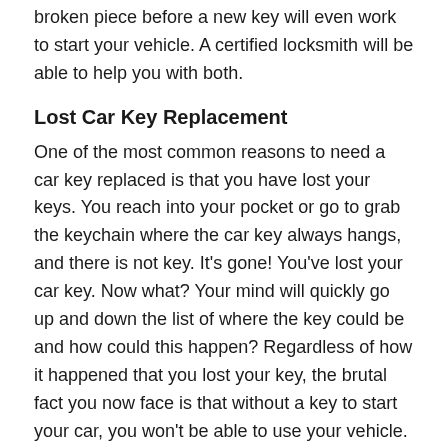broken piece before a new key will even work to start your vehicle. A certified locksmith will be able to help you with both.
Lost Car Key Replacement
One of the most common reasons to need a car key replaced is that you have lost your keys. You reach into your pocket or go to grab the keychain where the car key always hangs, and there is not key. It's gone! You've lost your car key. Now what? Your mind will quickly go up and down the list of where the key could be and how could this happen? Regardless of how it happened that you lost your key, the brutal fact you now face is that without a key to start your car, you won't be able to use your vehicle. You need a new car key to replace the one you lost, and you probably need it right away.
You don't have to wait for an appointment at your car dealership and pay exorbitant prices to get a replacement